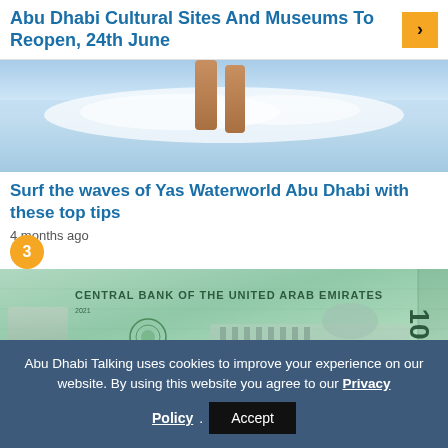Abu Dhabi Cultural Sites And Museums To Reopen, 24th June
[Figure (photo): Surfer at Yas Waterworld Abu Dhabi, water splash visible, legs of surfer shown]
Surf the waves of Yas Waterworld Abu Dhabi with these top tips
4 months ago
[Figure (photo): UAE 10 dirham banknote showing Central Bank of the United Arab Emirates text, ornamental medallion, portrait, building facade, and number 10 on side]
Abu Dhabi Talking uses cookies to improve your experience on our website. By using this website you agree to our Privacy Policy.
Accept